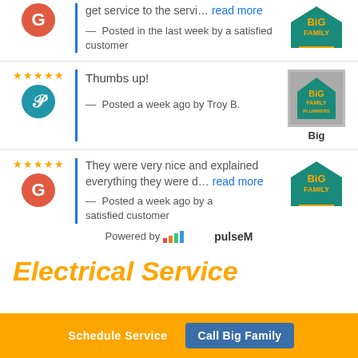get service to the servi... read more — Posted in the last week by a satisfied customer
[Figure (logo): Big Family logo - house with yellow text on teal background]
Thumbs up!
— Posted a week ago by Troy B.
[Figure (logo): Big Family Plumbers logo - grey square with yellow/teal house icon]
Big
They were very nice and explained everything they were d... read more
— Posted a week ago by a satisfied customer
[Figure (logo): Big Family logo - teal house with yellow text]
Powered by pulsem
Electrical Service
Schedule Service
Call Big Family